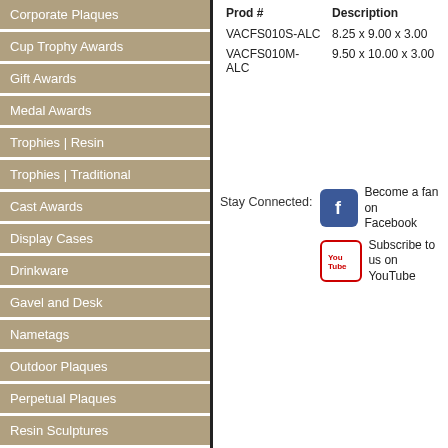Corporate Plaques
Cup Trophy Awards
Gift Awards
Medal Awards
Trophies | Resin
Trophies | Traditional
Cast Awards
Display Cases
Drinkware
Gavel and Desk
Nametags
Outdoor Plaques
Perpetual Plaques
Resin Sculptures
Trophies | Ceramic
Wine Gifts
Wood Awards
| Prod # | Description |
| --- | --- |
| VACFS010S-ALC | 8.25 x 9.00 x 3.00 |
| VACFS010M-ALC | 9.50 x 10.00 x 3.00 |
Stay Connected:
Become a fan on Facebook
Subscribe to us on YouTube